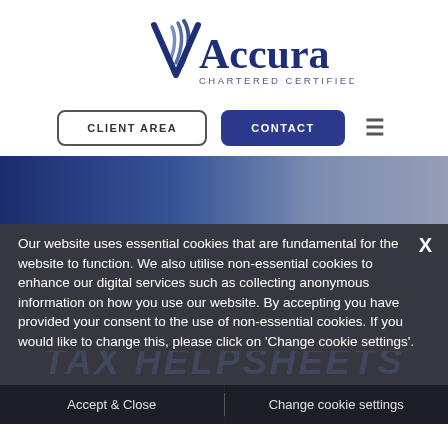[Figure (logo): Accura Chartered Certified Accountants logo with stylized V/checkmark in navy blue and grey tones]
CLIENT AREA
CONTACT
[Figure (photo): Dark blue tinted hero image strip, partially visible background photo]
Our website uses essential cookies that are fundamental for the website to function. We also utilise non-essential cookies to enhance our digital services such as collecting anonymous information on how you use our website. By accepting you have provided your consent to the use of non-essential cookies. If you would like to change this, please click on 'Change cookie settings'.
Accept & Close
Change cookie settings